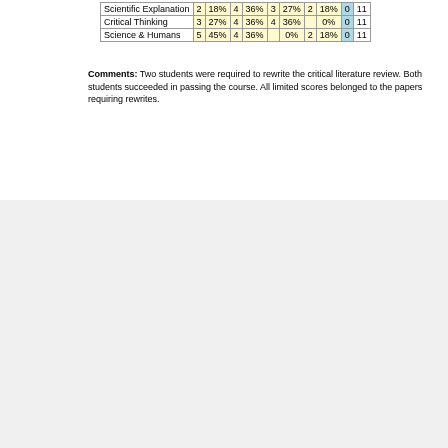| Scientific Explanation | 2 | 18% | 4 | 36% | 3 | 27% | 2 | 18% | 0 | 11 |
| Critical Thinking | 3 | 27% | 4 | 36% | 4 | 36% |  | 0% | 0 | 11 |
| Science & Humans | 5 | 45% | 4 | 36% |  | 0% | 2 | 18% | 0 | 11 |
Comments: Two students were required to rewrite the critical literature review. Both students succeeded in passing the course. All limited scores belonged to the papers requiring rewrites.
6 | P a g e